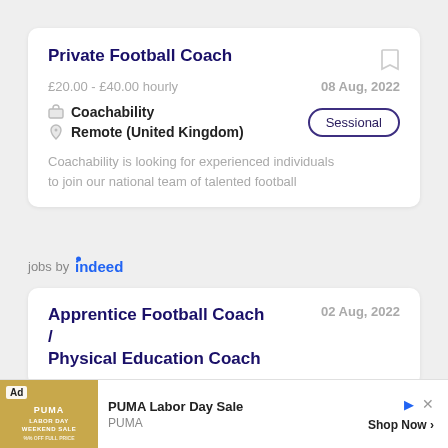Private Football Coach
£20.00 - £40.00 hourly
08 Aug, 2022
Coachability
Remote (United Kingdom)
Sessional
Coachability is looking for experienced individuals to join our national team of talented football
jobs by indeed
Apprentice Football Coach / Physical Education Coach
02 Aug, 2022
Ad  PUMA Labor Day Sale  PUMA  Shop Now